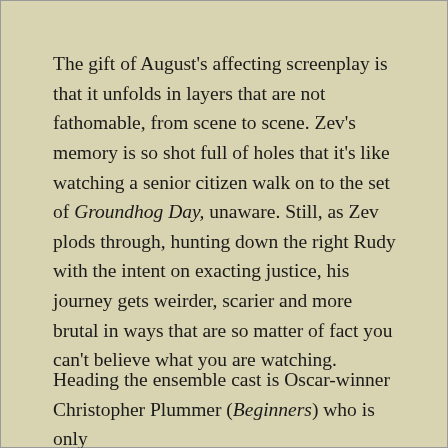The gift of August's affecting screenplay is that it unfolds in layers that are not fathomable, from scene to scene. Zev's memory is so shot full of holes that it's like watching a senior citizen walk on to the set of Groundhog Day, unaware. Still, as Zev plods through, hunting down the right Rudy with the intent on exacting justice, his journey gets weirder, scarier and more brutal in ways that are so matter of fact you can't believe what you are watching.
Heading the ensemble cast is Oscar-winner Christopher Plummer (Beginners) who is only